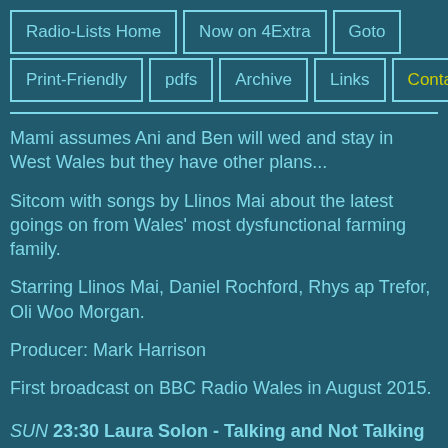Radio-Lists Home | Now on 4Extra | Goto | Print-Friendly | pdfs | Archive | Links | Contact
Mami assumes Ani and Ben will wed and stay in West Wales but they have other plans...
Sitcom with songs by Llinos Mai about the latest goings on from Wales' most dysfunctional farming family.
Starring Llinos Mai, Daniel Rochford, Rhys ap Trefor, Oli Woo Morgan.
Producer: Mark Harrison
First broadcast on BBC Radio Wales in August 2015.
SUN 23:30 Laura Solon - Talking and Not Talking (b00773 Series 1
Episode 5